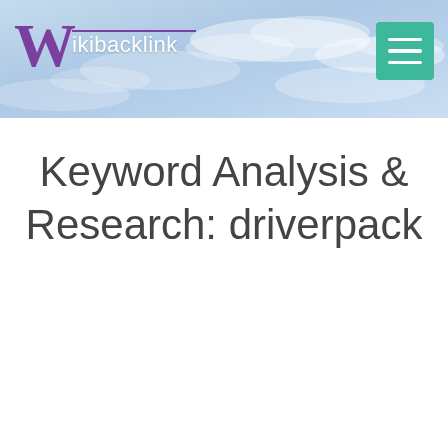Wikibacklink
Keyword Analysis & Research: driverpack